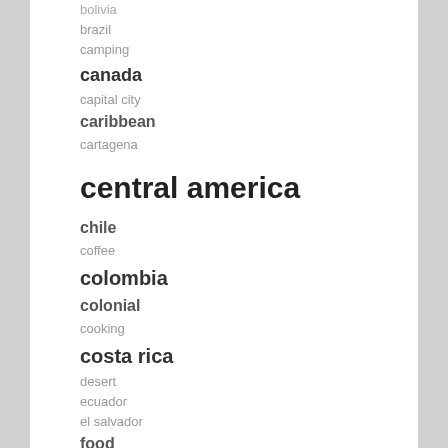bolivia
brazil
camping
canada
capital city
caribbean
cartagena
central america
chile
coffee
colombia
colonial
cooking
costa rica
desert
ecuador
el salvador
food
guatemala
highways
hiking
hot springs